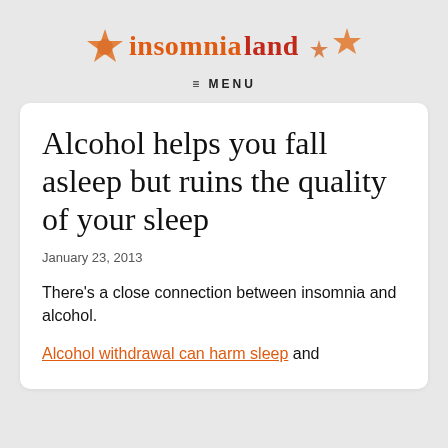[Figure (logo): Insomnia Land logo with orange and dark red text and star decorations]
≡ MENU
Alcohol helps you fall asleep but ruins the quality of your sleep
January 23, 2013
There's a close connection between insomnia and alcohol.
Alcohol withdrawal can harm sleep and